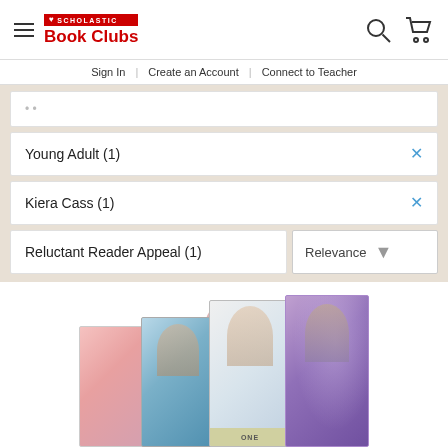SCHOLASTIC Book Clubs
Sign In | Create an Account | Connect to Teacher
Young Adult (1)
Kiera Cass (1)
Reluctant Reader Appeal (1)
Relevance
[Figure (photo): Stack of young adult book covers by Kiera Cass, including The Selection series books, shown fanned out]